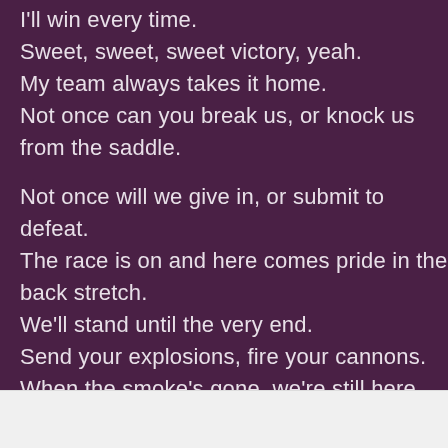I'll win every time.
Sweet, sweet, sweet victory, yeah.
My team always takes it home.
Not once can you break us, or knock us from the saddle.

Not once will we give in, or submit to defeat.
The race is on and here comes pride in the back stretch.
We'll stand until the very end.
Send your explosions, fire your cannons.
When the smoke's gone, we're still here, and we're hot

Cause we're based on heart and we're based on soul.
It's the final countdown.
Follow ···